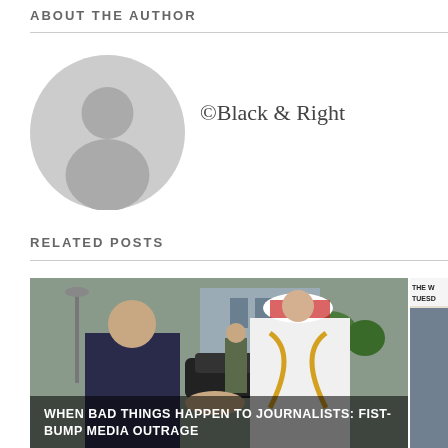ABOUT THE AUTHOR
[Figure (illustration): Circular grey placeholder avatar icon showing a silhouette of a person]
©Black & Right
RELATED POSTS
[Figure (photo): Photo of two men shaking hands outdoors, one in a suit and one in traditional Middle Eastern attire with a headress, military officer visible in background]
WHEN BAD THINGS HAPPEN TO JOURNALISTS: FIST-BUMP MEDIA OUTRAGE